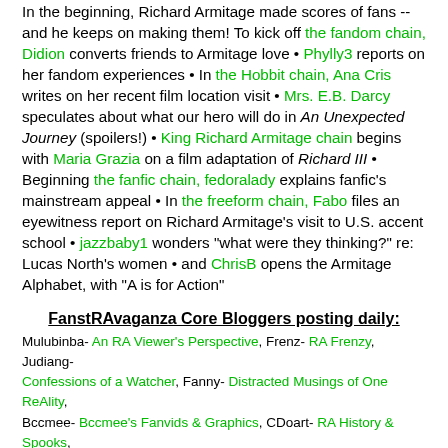In the beginning, Richard Armitage made scores of fans -- and he keeps on making them! To kick off the fandom chain, Didion converts friends to Armitage love • Phylly3 reports on her fandom experiences • In the Hobbit chain, Ana Cris writes on her recent film location visit • Mrs. E.B. Darcy speculates about what our hero will do in An Unexpected Journey (spoilers!) • King Richard Armitage chain begins with Maria Grazia on a film adaptation of Richard III • Beginning the fanfic chain, fedoralady explains fanfic's mainstream appeal • In the freeform chain, Fabo files an eyewitness report on Richard Armitage's visit to U.S. accent school • jazzbaby1 wonders "what were they thinking?" re: Lucas North's women • and ChrisB opens the Armitage Alphabet, with "A is for Action"
FanstRAvaganza Core Bloggers posting daily:
Mulubinba- An RA Viewer's Perspective, Frenz- RA Frenzy, Judiang- Confessions of a Watcher, Fanny- Distracted Musings of One ReAlity, Bccmee- Bccmee's Fanvids & Graphics, CDoart- RA History & Spooks,